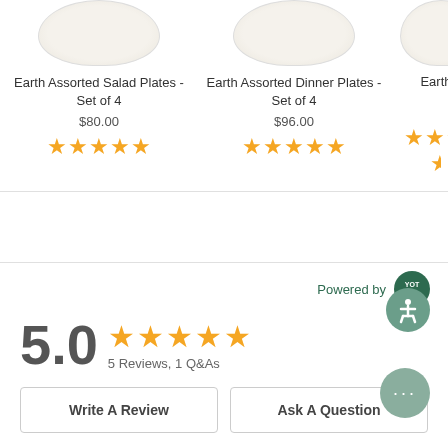[Figure (screenshot): Product listing row showing Earth Assorted Salad Plates - Set of 4 at $80.00 with 5 stars, Earth Assorted Dinner Plates - Set of 4 at $96.00 with 5 stars, and a partially visible third product with 4.5 stars]
Earth Assorted Salad Plates - Set of 4
$80.00
Earth Assorted Dinner Plates - Set of 4
$96.00
Earth As
Powered by
5.0
5 Reviews, 1 Q&As
Write A Review
Ask A Question
REVIEWS
QUESTIONS